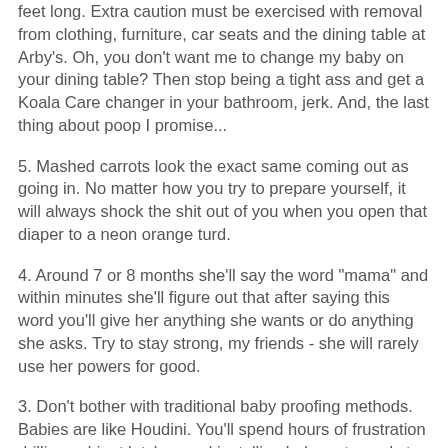feet long. Extra caution must be exercised with removal from clothing, furniture, car seats and the dining table at Arby's. Oh, you don't want me to change my baby on your dining table? Then stop being a tight ass and get a Koala Care changer in your bathroom, jerk. And, the last thing about poop I promise...
5. Mashed carrots look the exact same coming out as going in. No matter how you try to prepare yourself, it will always shock the shit out of you when you open that diaper to a neon orange turd.
4. Around 7 or 8 months she'll say the word "mama" and within minutes she'll figure out that after saying this word you'll give her anything she wants or do anything she asks. Try to stay strong, my friends - she will rarely use her powers for good.
3. Don't bother with traditional baby proofing methods. Babies are like Houdini. You'll spend hours of frustration drilling cabinet latches and installing baby gates only to step out of the bathroom to find him sitting on a stack of your...